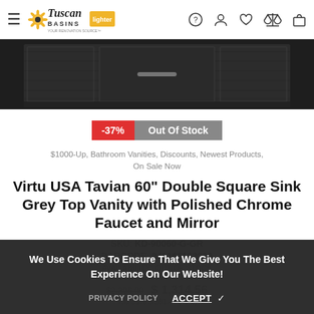Tuscan Basins — Navigation bar with logo and icons
[Figure (photo): Dark grey wood-grain vanity cabinet with center drawer and chrome handle, cropped product photo]
-37%  Out Of Stock
$1000-Up, Bathroom Vanities, Discounts, Newest Products, On Sale Now
Virtu USA Tavian 60" Double Square Sink Grey Top Vanity with Polished Chrome Faucet and Mirror
SKU: KD-90060-G-GR
BARCODE: 840166102329
AVAILABILITY: Out Of Stock
VENDOR: Virtu USA
$2,306.00  $ 1,314.56
You Save $ 991.44 (43%)
We Use Cookies To Ensure That We Give You The Best Experience On Our Website!
PRIVACY POLICY   ACCEPT ✓